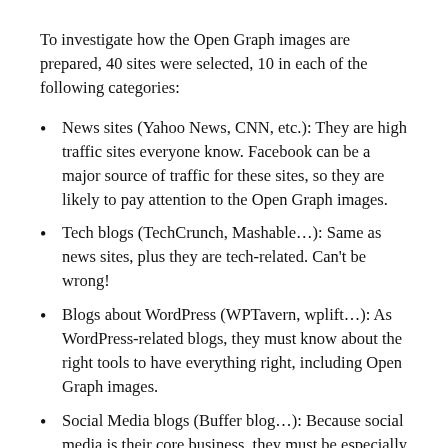To investigate how the Open Graph images are prepared, 40 sites were selected, 10 in each of the following categories:
News sites (Yahoo News, CNN, etc.): They are high traffic sites everyone know. Facebook can be a major source of traffic for these sites, so they are likely to pay attention to the Open Graph images.
Tech blogs (TechCrunch, Mashable…): Same as news sites, plus they are tech-related. Can't be wrong!
Blogs about WordPress (WPTavern, wplift…): As WordPress-related blogs, they must know about the right tools to have everything right, including Open Graph images.
Social Media blogs (Buffer blog…): Because social media is their core business, they must be especially careful with Facebook-related material.